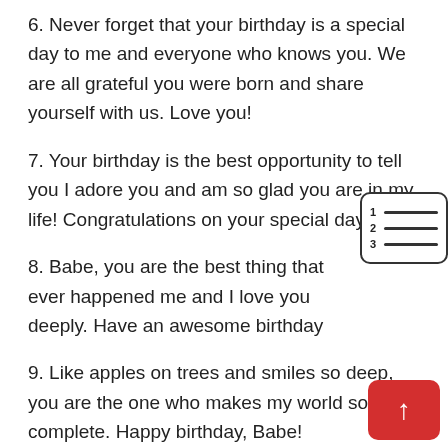6. Never forget that your birthday is a special day to me and everyone who knows you. We are all grateful you were born and share yourself with us. Love you!
7. Your birthday is the best opportunity to tell you I adore you and am so glad you are in my life! Congratulations on your special day!
8. Babe, you are the best thing that ever happened me and I love you deeply. Have an awesome birthday
9. Like apples on trees and smiles so deep, you are the one who makes my world so complete. Happy birthday, Babe!
10. When I smell you I smell a rose garden, when I touch you I become numb and when you kiss me I get